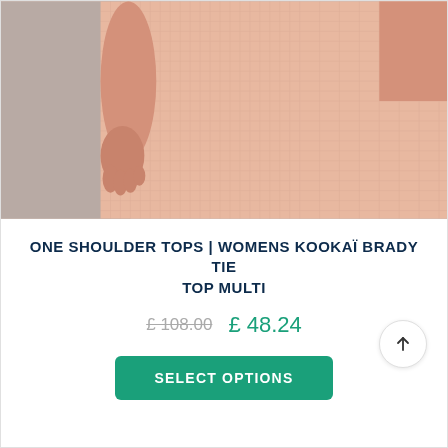[Figure (photo): Close-up of a woman wearing a pink/peach textured top, showing torso and hand, cropped above waist on a light grey background.]
ONE SHOULDER TOPS | WOMENS KOOKAÏ BRADY TIE TOP MULTI
£ 108.00  £ 48.24
SELECT OPTIONS